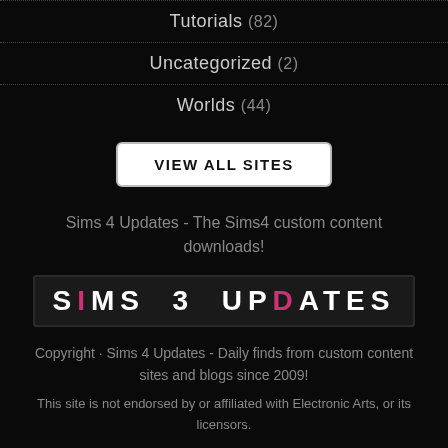Tutorials (82)
Uncategorized (2)
Worlds (44)
VIEW ALL SITES
Sims 4 Updates - The Sims4 custom content downloads!
[Figure (logo): SIMS 3 UPDATES logo with pink I and pink D letters on dark background]
Copyright · Sims 4 Updates - Daily finds from custom content sites and blogs since 2009!
This site is not endorsed by or affiliated with Electronic Arts, or its licensors.